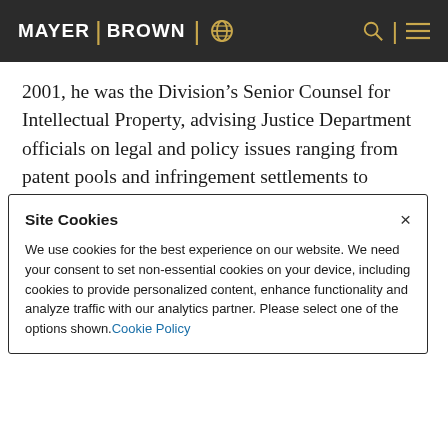MAYER | BROWN
2001, he was the Division’s Senior Counsel for Intellectual Property, advising Justice Department officials on legal and policy issues ranging from patent pools and infringement settlements to database protection and the transition of the Internet Domain Name System from US government control.
“With my focus on IP-antitrust issues, Silicon
Site Cookies
We use cookies for the best experience on our website. We need your consent to set non-essential cookies on your device, including cookies to provide personalized content, enhance functionality and analyze traffic with our analytics partner. Please select one of the options shown. Cookie Policy